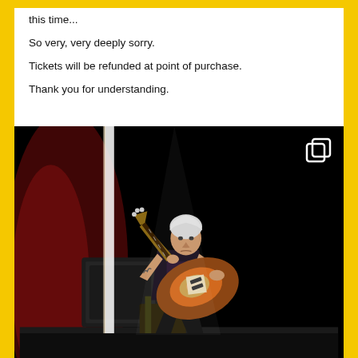this time...
So very, very deeply sorry.
Tickets will be refunded at point of purchase.
Thank you for understanding.
[Figure (photo): A guitarist with silver/white hair wearing a dark t-shirt and black jeans performing on stage, leaning forward while playing a sunburst Fender Stratocaster guitar. Stage lighting creates red and black background. A copy/duplicate icon appears in the upper right corner of the photo.]